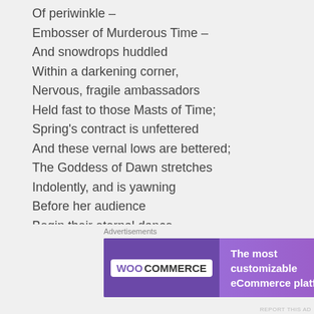Of periwinkle –
Embosser of Murderous Time –
And snowdrops huddled
Within a darkening corner,
Nervous, fragile ambassadors
Held fast to those Masts of Time;
Spring's contract is unfettered
And these vernal lows are bettered;
The Goddess of Dawn stretches
Indolently, and is yawning
Before her audience
Begin their eternal dance.
[Figure (other): WooCommerce advertisement banner: 'The most customizable eCommerce platform']